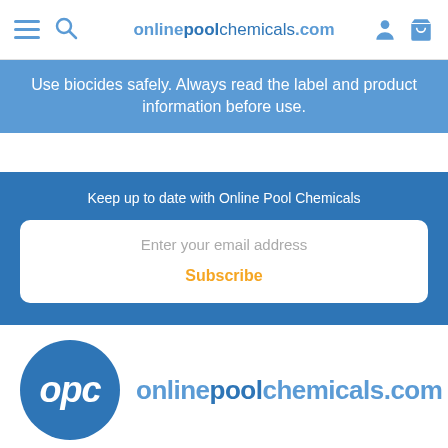onlinepoolchemicals.com
Use biocides safely. Always read the label and product information before use.
Keep up to date with Online Pool Chemicals
Enter your email address
Subscribe
[Figure (logo): OPC circle logo with 'opc' text and onlinepoolchemicals.com brand name]